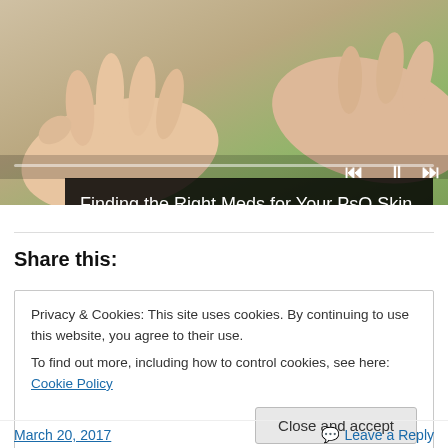[Figure (screenshot): Video player showing hands with a green background and progress bar controls. Title bar reads 'Finding the Right Meds for Your PsO Skin'.]
Share this:
Privacy & Cookies: This site uses cookies. By continuing to use this website, you agree to their use.
To find out more, including how to control cookies, see here: Cookie Policy
Close and accept
March 20, 2017   Leave a Reply